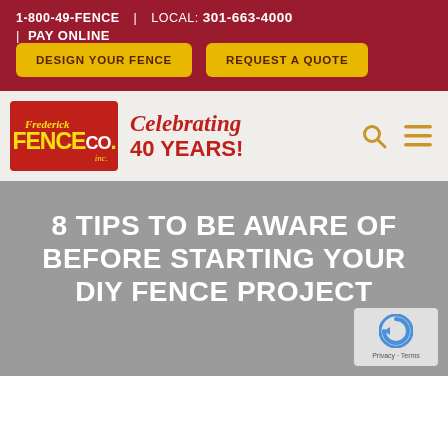1-800-49-FENCE | LOCAL: 301-663-4000 | PAY ONLINE
[Figure (logo): Frederick Fence Co. Inc. logo — red background with yellow FENCE CO. text, and 'Celebrating 40 Years!' in red italic next to it]
8 TIPS TO BE AWARE OF BEFORE STARTING YOUR DIY FENCE PROJECT